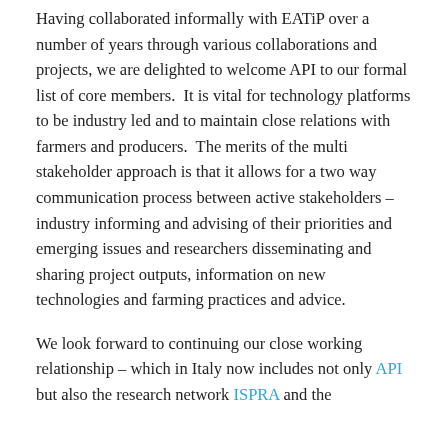Having collaborated informally with EATiP over a number of years through various collaborations and projects, we are delighted to welcome API to our formal list of core members.  It is vital for technology platforms to be industry led and to maintain close relations with farmers and producers.  The merits of the multi stakeholder approach is that it allows for a two way communication process between active stakeholders – industry informing and advising of their priorities and emerging issues and researchers disseminating and sharing project outputs, information on new technologies and farming practices and advice.
We look forward to continuing our close working relationship – which in Italy now includes not only API but also the research network ISPRA and the